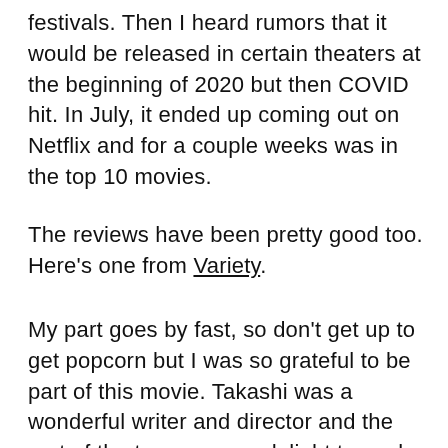festivals. Then I heard rumors that it would be released in certain theaters at the beginning of 2020 but then COVID hit. In July, it ended up coming out on Netflix and for a couple weeks was in the top 10 movies.
The reviews have been pretty good too. Here's one from Variety.
My part goes by fast, so don't get up to get popcorn but I was so grateful to be part of this movie. Takashi was a wonderful writer and director and the rest of the team were a delight to work with.